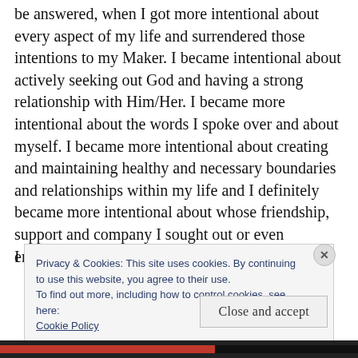be answered, when I got more intentional about every aspect of my life and surrendered those intentions to my Maker. I became intentional about actively seeking out God and having a strong relationship with Him/Her. I became more intentional about the words I spoke over and about myself. I became more intentional about creating and maintaining healthy and necessary boundaries and relationships within my life and I definitely became more intentional about whose friendship, support and company I sought out or even entertained.
I
Privacy & Cookies: This site uses cookies. By continuing to use this website, you agree to their use.
To find out more, including how to control cookies, see here: Cookie Policy
Close and accept